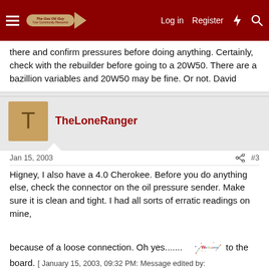The Gas Oil Guy forum header with navigation: Log in, Register, lightning, search icons
there and confirm pressures before doing anything. Certainly, check with the rebuilder before going to a 20W50. There are a bazillion variables and 20W50 may be fine. Or not. David
TheLoneRanger
Jan 15, 2003   #3
Higney, I also have a 4.0 Cherokee. Before you do anything else, check the connector on the oil pressure sender. Make sure it is clean and tight. I had all sorts of erratic readings on mine, because of a loose connection. Oh yes....... [welcome image] to the board. [ January 15, 2003, 09:32 PM: Message edited by: TheLoneRanger ]
higney85